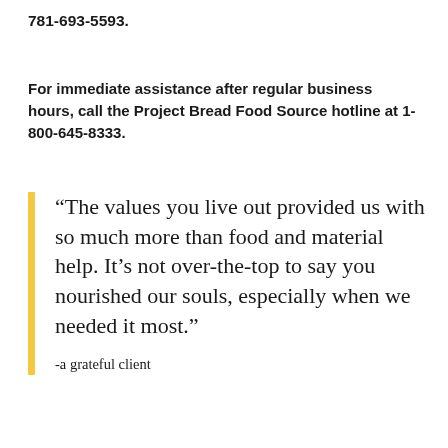781-693-5593.
For immediate assistance after regular business hours, call the Project Bread Food Source hotline at 1-800-645-8333.
“The values you live out provided us with so much more than food and material help. It’s not over-the-top to say you nourished our souls, especially when we needed it most.”
-a grateful client